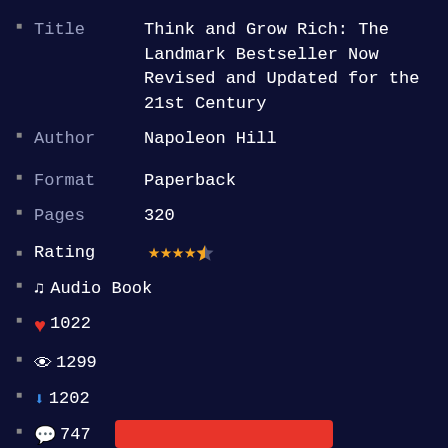Title: Think and Grow Rich: The Landmark Bestseller Now Revised and Updated for the 21st Century
Author: Napoleon Hill
Format: Paperback
Pages: 320
Rating: 4.5 stars
Audio Book
❤ 1022
👁 1299
⬇ 1202
💬 747